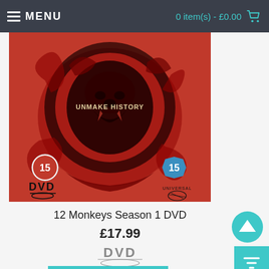MENU  0 item(s) - £0.00
[Figure (photo): 12 Monkeys Season 1 DVD cover art: red background with black stylized monkey/ape skull imagery and text UNMAKE HISTORY in center, UK age rating 15 badges on left and right, DVD logo bottom left, Universal logo bottom right]
12 Monkeys Season 1 DVD
£17.99
[Figure (logo): DVD logo in silver/grey metallic style with disc graphic below]